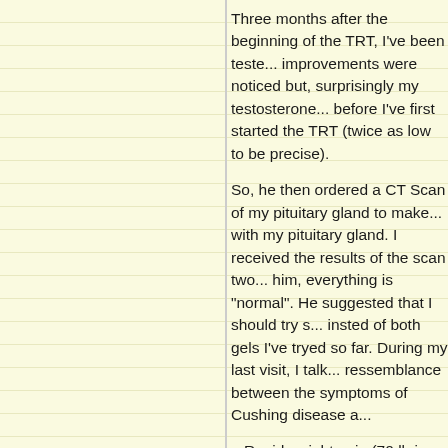Three months after the beginning of the TRT, I've been tested... improvements were noticed but, surprisingly my testosterone... before I've first started the TRT (twice as low to be precise).
So, he then ordered a CT Scan of my pituitary gland to make... with my pituitary gland. I received the results of the scan two... him, everything is "normal". He suggested that I should try s... insted of both gels I've tryed so far. During my last visit, I talk... ressemblance between the symptoms of Cushing disease a...
– Rapid weight gain (70 lb in 18 months mainly at the torso)
– Severe depression for the last 7 years at least
– Broken vertebrae in 2005 for no apparent reason
– Circadian rhythm completely out of whack (can't sleep with... each night for the last 5 years)
–  Suicidal thoughts (one attempt in 2004)
– Hypogonadism (total and biodisponible testosterone levels... months of TRT)
– LH and FSH deficiency
– Higher cortisol level at 4 pm than 8 am
– Stretch marks
– Changes of my skin (thinner and dryer, take longer to heel...)
– Deacreased libido